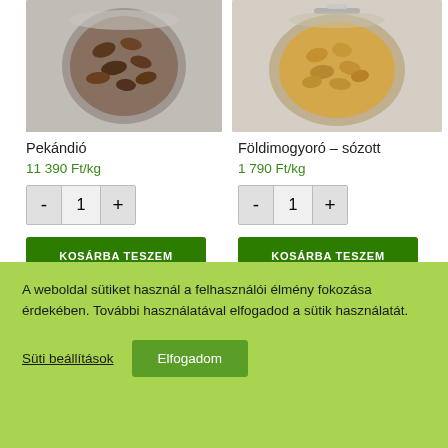[Figure (photo): Glass jar filled with pecan nuts on white/grey background]
[Figure (photo): Glass jar with metal clasp filled with salted peanuts on white background]
Pekándió
Földimogyoró – sózott
11 390 Ft/kg
1 790 Ft/kg
- 1 +
- 1 +
KOSÁRBA TESZEM
KOSÁRBA TESZEM
A weboldal sütiket használ a felhasználói élmény fokozása érdekében. További használatával elfogadod a sütik használatát.
Süti beállítások
Elfogadom